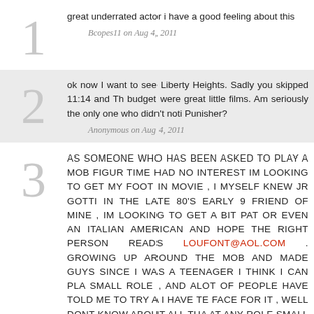great underrated actor i have a good feeling about this
Bcopes11 on Aug 4, 2011
ok now I want to see Liberty Heights. Sadly you skipped 11:14 and Th... budget were great little films. Am seriously the only one who didn't noti... Punisher?
Anonymous on Aug 4, 2011
AS SOMEONE WHO HAS BEEN ASKED TO PLAY A MOB FIGUR... TIME HAD NO INTEREST IM LOOKING TO GET MY FOOT IN... MOVIE , I MYSELF KNEW JR GOTTI IN THE LATE 80'S EARLY 9... FRIEND OF MINE , IM LOOKING TO GET A BIT PAT OR EVEN AN... ITALIAN AMERICAN AND HOPE THE RIGHT PERSON READS... LOUFONT@AOL.COM . GROWING UP AROUND THE MOB AND... MADE GUYS SINCE I WAS A TEENAGER I THINK I CAN PLA... SMALL ROLE , AND ALOT OF PEOPLE HAVE TOLD ME TO TRY A... I HAVE TE FACE FOR IT , WELL DONT KNOW ABOUT ALL THA... AT ANY ROLE SMALL OR A BIT BIGGER OR BT ,EXTRA PART IN... , HOPE TO HEAR FROM SOMEONE WHO CAN ELP ME O...
loufont@aol.com